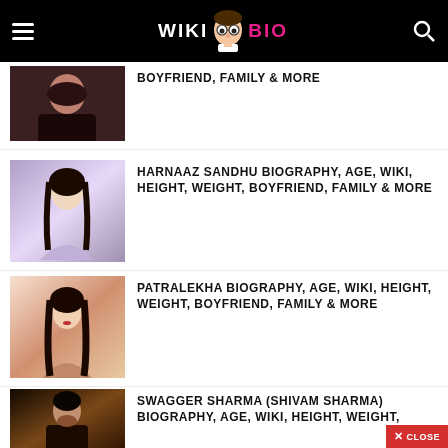WIKI BIO
BOYFRIEND, FAMILY & MORE
HARNAAZ SANDHU BIOGRAPHY, AGE, WIKI, HEIGHT, WEIGHT, BOYFRIEND, FAMILY & MORE
PATRALEKHA BIOGRAPHY, AGE, WIKI, HEIGHT, WEIGHT, BOYFRIEND, FAMILY & MORE
SWAGGER SHARMA (SHIVAM SHARMA) BIOGRAPHY, AGE, WIKI, HEIGHT, WEIGHT,